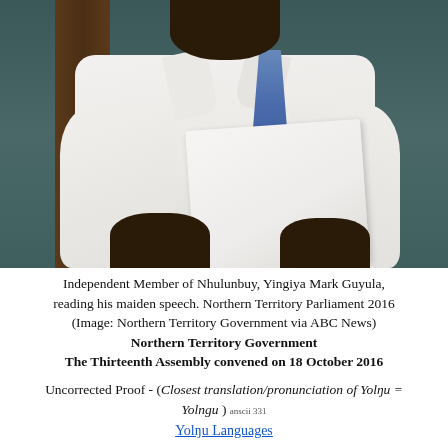[Figure (photo): Photo of Independent Member of Nhulunbuy, Yingiya Mark Guyula, holding papers and reading his maiden speech in the Northern Territory Parliament 2016. He is wearing a white shirt and blue tie.]
Independent Member of Nhulunbuy, Yingiya Mark Guyula, reading his maiden speech. Northern Territory Parliament 2016 (Image: Northern Territory Government via ABC News) Northern Territory Government The Thirteenth Assembly convened on 18 October 2016
Uncorrected Proof - (Closest translation/pronunciation of Yolŋu = Yolngu ) anscii 331
Yolŋu Languages